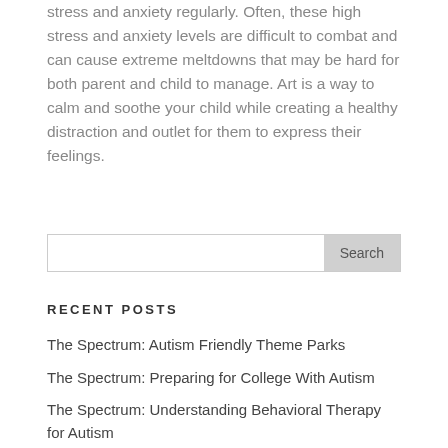stress and anxiety regularly.  Often, these high stress and anxiety levels are difficult to combat and can cause extreme meltdowns that may be hard for both parent and child to manage.  Art is a way to calm and soothe your child while creating a healthy distraction and outlet for them to express their feelings.
Search
RECENT POSTS
The Spectrum: Autism Friendly Theme Parks
The Spectrum: Preparing for College With Autism
The Spectrum: Understanding Behavioral Therapy for Autism
The Spectrum: Teaching Communication Skills to